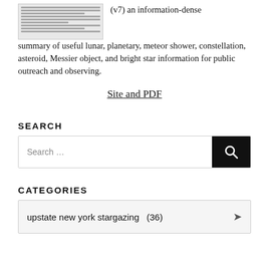[Figure (screenshot): Thumbnail image of a document showing dense text lines]
(v7) an information-dense summary of useful lunar, planetary, meteor shower, constellation, asteroid, Messier object, and bright star information for public outreach and observing.
Site and PDF
SEARCH
Search …
CATEGORIES
upstate new york stargazing  (36)